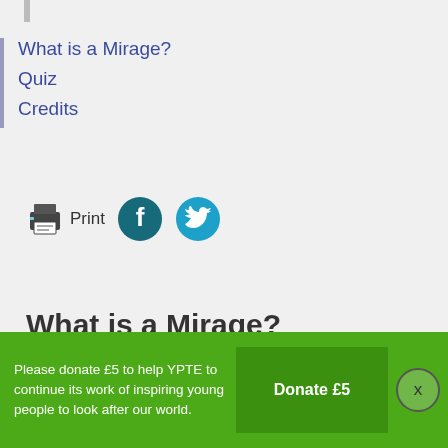What is a Mirage?
Quiz
Credits
[Figure (infographic): Print button icon (printer) with label 'Print', followed by Facebook circle icon and Twitter circle icon]
What is a Mirage?
A mirage is a
Please donate £5 to help YPTE to continue its work of inspiring young people to look after our world.
Donate £5